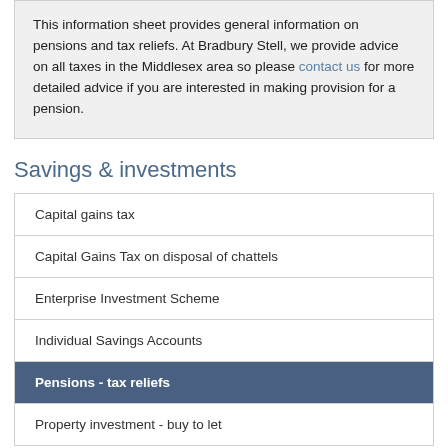This information sheet provides general information on pensions and tax reliefs. At Bradbury Stell, we provide advice on all taxes in the Middlesex area so please contact us for more detailed advice if you are interested in making provision for a pension.
Savings & investments
Capital gains tax
Capital Gains Tax on disposal of chattels
Enterprise Investment Scheme
Individual Savings Accounts
Pensions - tax reliefs
Property investment - buy to let